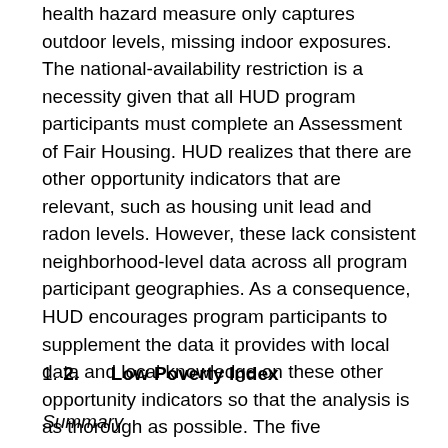health hazard measure only captures outdoor levels, missing indoor exposures. The national-availability restriction is a necessity given that all HUD program participants must complete an Assessment of Fair Housing. HUD realizes that there are other opportunity indicators that are relevant, such as housing unit lead and radon levels. However, these lack consistent neighborhood-level data across all program participant geographies. As a consequence, HUD encourages program participants to supplement the data it provides with local data and local knowledge on these other opportunity indicators so that the analysis is as thorough as possible. The five opportunity indicators are operationalized by seven indices, described below.
1. 2. Low Poverty Index
Summary